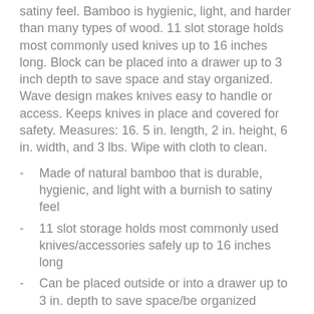satiny feel. Bamboo is hygienic, light, and harder than many types of wood. 11 slot storage holds most commonly used knives up to 16 inches long. Block can be placed into a drawer up to 3 inch depth to save space and stay organized. Wave design makes knives easy to handle or access. Keeps knives in place and covered for safety. Measures: 16. 5 in. length, 2 in. height, 6 in. width, and 3 lbs. Wipe with cloth to clean.
Made of natural bamboo that is durable, hygienic, and light with a burnish to satiny feel
11 slot storage holds most commonly used knives/accessories safely up to 16 inches long
Can be placed outside or into a drawer up to 3 in. depth to save space/be organized
Wave design with 2 levels makes knives easy to handle or access